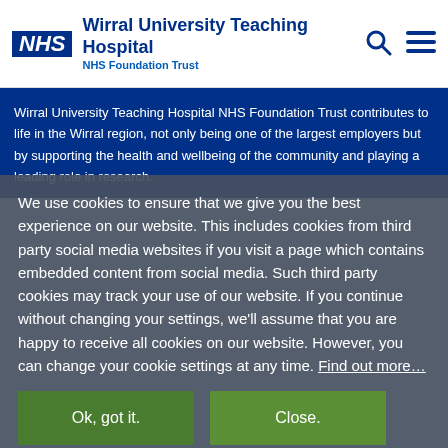NHS Wirral University Teaching Hospital NHS Foundation Trust
Wirral University Teaching Hospital NHS Foundation Trust contributes to life in the Wirral region, not only being one of the largest employers but by supporting the health and wellbeing of the community and playing a leading role in research.
We use cookies to ensure that we give you the best experience on our website. This includes cookies from third party social media websites if you visit a page which contains embedded content from social media. Such third party cookies may track your use of our website. If you continue without changing your settings, we'll assume that you are happy to receive all cookies on our website. However, you can change your cookie settings at any time. Find out more…